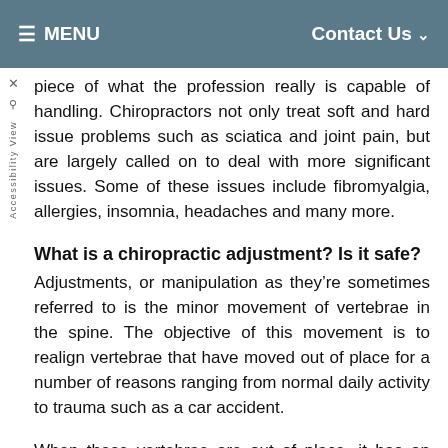≡ MENU   Contact Us ∨
piece of what the profession really is capable of handling. Chiropractors not only treat soft and hard issue problems such as sciatica and joint pain, but are largely called on to deal with more significant issues. Some of these issues include fibromyalgia, allergies, insomnia, headaches and many more.
What is a chiropractic adjustment? Is it safe?
Adjustments, or manipulation as they're sometimes referred to is the minor movement of vertebrae in the spine. The objective of this movement is to realign vertebrae that have moved out of place for a number of reasons ranging from normal daily activity to trauma such as a car accident.
When these vertebrae are out of place, it has an overall systemic effect from muscular to the central nervous system. Without proper alignment and flow of all nerves and systems in the body from the brain, we can't